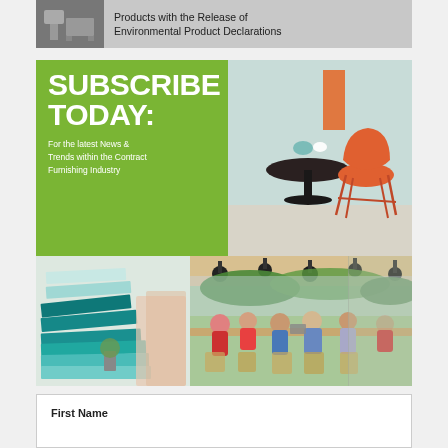[Figure (illustration): Top banner showing headline text 'Products with the Release of Environmental Product Declarations' alongside a small product/kitchen image on left]
[Figure (infographic): Subscribe Today advertisement block: green left panel with large white bold text 'SUBSCRIBE TODAY: For the latest News & Trends within the Contract Furnishing Industry', right panel showing orange chair on teal/grey background]
[Figure (photo): Bottom left photo showing stacked fabric/textile samples in teal, turquoise, and light colors]
[Figure (photo): Bottom right photo showing people seated at a long wooden table in a modern restaurant/cafe setting with hanging dark pendant lights and green foliage]
First Name